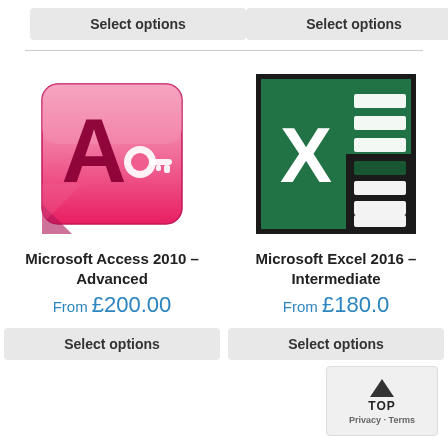Select options
Select options
[Figure (logo): Microsoft Access 2010 logo - red/pink icon with letter A and key]
Microsoft Access 2010 – Advanced
From £200.00
Select options
[Figure (logo): Microsoft Excel 2016 logo - green icon with X and spreadsheet grid]
Microsoft Excel 2016 – Intermediate
From £180.00
Select options